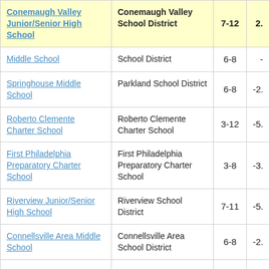| School | District | Grades | Score |
| --- | --- | --- | --- |
| Conemaugh Valley Junior/Senior High School | Conemaugh Valley School District | 7-12 | 2. |
| Middle School | School District | 6-8 (partial) | - |
| Springhouse Middle School | Parkland School District | 6-8 | -2. |
| Roberto Clemente Charter School | Roberto Clemente Charter School | 3-12 | -5. |
| First Philadelphia Preparatory Charter School | First Philadelphia Preparatory Charter School | 3-8 | -3. |
| Riverview Junior/Senior High School | Riverview School District | 7-11 | -5. |
| Connellsville Area Middle School | Connellsville Area School District | 6-8 | -2. |
| [partial row] |  |  |  |